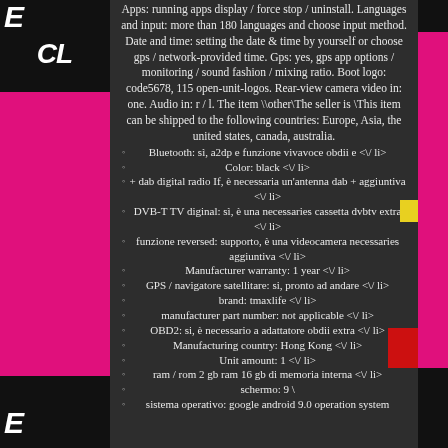Apps: running apps display / force stop / uninstall. Languages and input: more than 180 languages and choose input method. Date and time: setting the date & time by yourself or choose gps / network-provided time. Gps: yes, gps app options / monitoring / sound fashion / mixing ratio. Boot logo: code5678, 115 open-unit-logos. Rear-view camera video in: one. Audio in: r / l. The item \other\The seller is \This item can be shipped to the following countries: Europe, Asia, the united states, canada, australia.
Bluetooth: sì, a2dp e funzione vivavoce obdii e <\/ li>
Color: black <\/ li>
+ dab digital radio If, è necessaria un'antenna dab + aggiuntiva <\/ li>
DVB-T TV diginal: sì, è una necessaries cassetta dvbtv extra <\/ li>
funzione reversed: supporto, è una videocamera necessaries aggiuntiva <\/ li>
Manufacturer warranty: 1 year <\/ li>
GPS / navigatore satellitare: si, pronto ad andare <\/ li>
brand: tmaxlife <\/ li>
manufacturer part number: not applicable <\/ li>
OBD2: si, è necessario a adattatore obdii extra <\/ li>
Manufacturing country: Hong Kong <\/ li>
Unit amount: 1 <\/ li>
ram / rom 2 gb ram 16 gb di memoria interna <\/ li>
schermo: 9 \
sistema operativo: google android 9.0 operation system